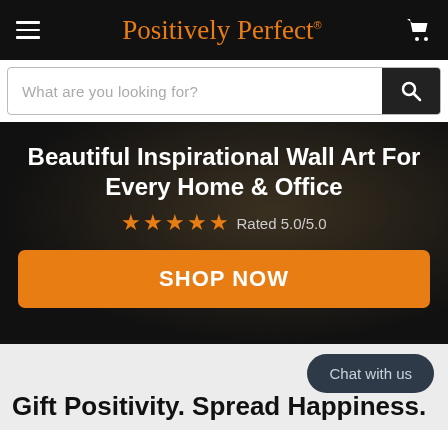Positively Perfect®
What are you looking for?
Beautiful Inspirational Wall Art For Every Home & Office
★★★★★ Rated 5.0/5.0
SHOP NOW
Chat with us
Gift Positivity. Spread Happiness.